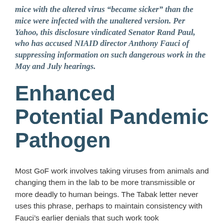mice with the altered virus "became sicker" than the mice were infected with the unaltered version. Per Yahoo, this disclosure vindicated Senator Rand Paul, who has accused NIAID director Anthony Fauci of suppressing information on such dangerous work in the May and July hearings.
Enhanced Potential Pandemic Pathogen
Most GoF work involves taking viruses from animals and changing them in the lab to be more transmissible or more deadly to human beings. The Tabak letter never uses this phrase, perhaps to maintain consistency with Fauci's earlier denials that such work took